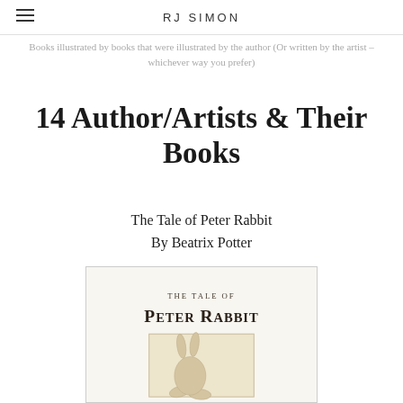RJ SIMON
Books illustrated by books that were illustrated by the author (Or written by the artist – whichever way you prefer)
14 Author/Artists & Their Books
The Tale of Peter Rabbit
By Beatrix Potter
[Figure (illustration): Book cover of The Tale of Peter Rabbit by Beatrix Potter, showing the title text and a partial illustration of Peter Rabbit's feet/lower body]